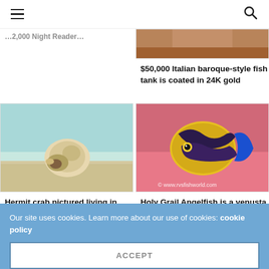Navigation bar with hamburger menu and search icon
…2,000 Night Reader…
[Figure (photo): Partial image of a brown/reddish object, top of article card]
$50,000 Italian baroque-style fish tank is coated in 24K gold
[Figure (photo): Hermit crab partially buried in sand with aqua/teal sandy background]
Hermit crab pictured living in Walking Dendro
[Figure (photo): Colorful tropical angelfish with blue, black, white and yellow patterns against a pink background with watermark © www.rvsfishworld.com]
Holy Grail Angelfish is a venusta X multifasciata hybrid
Our site uses cookies. Learn more about our use of cookies: cookie policy
ACCEPT